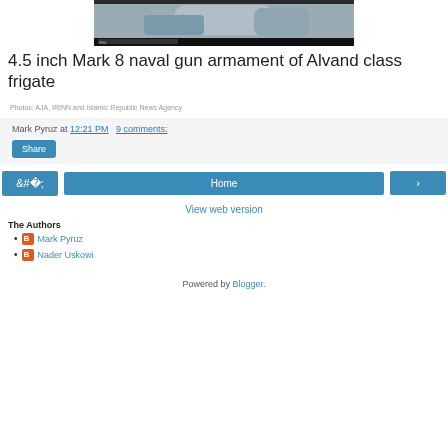[Figure (photo): Partial view of 4.5 inch Mark 8 naval gun on Alvand class frigate — top portion of image visible]
4.5 inch Mark 8 naval gun armament of Alvand class frigate
Photos: AJA, IRINN and Islamic Republic News Agency
Mark Pyruz at 12:21 PM   9 comments:
Share
‹   Home   ›
View web version
The Authors
Mark Pyruz
Nader Uskowi
Powered by Blogger.